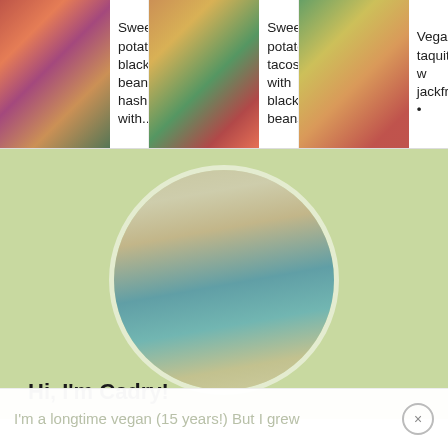[Figure (photo): Thumbnail of sweet potato black bean hash dish]
Sweet potato black bean hash with...
[Figure (photo): Thumbnail of sweet potato tacos with black beans]
Sweet potato tacos with black beans
[Figure (photo): Thumbnail of vegan taquitos with jackfruit]
Vegan taquitos w jackfruit •
[Figure (photo): Circular portrait photo of Cadry, a smiling woman holding a cat in a kitchen, on a light green background]
Hi, I'm Cadry!
I'm a longtime vegan (15 years!) But I grew